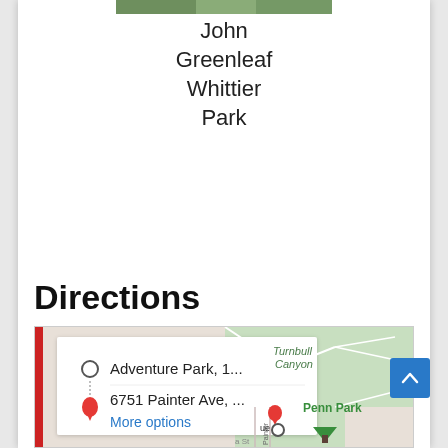[Figure (photo): Top portion of a park photo (cropped, showing greenery/nature), positioned at top center]
John Greenleaf Whittier Park
Directions
[Figure (screenshot): Google Maps screenshot showing directions panel with 'Adventure Park, 1...' as origin and '6751 Painter Ave, ...' as destination with 'More options' link, and map view showing Turnbull Canyon, Penn Park, and a green destination marker]